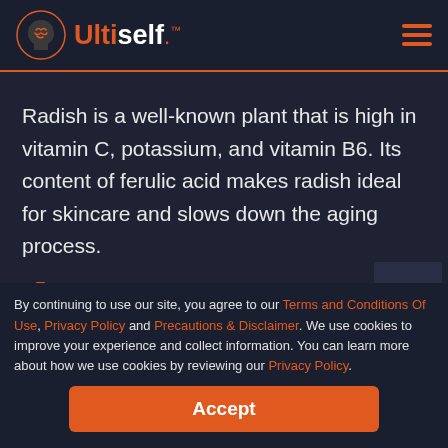Ultiself — navigation bar with logo and hamburger menu
Description
Radish is a well-known plant that is high in vitamin C, potassium, and vitamin B6. Its content of ferulic acid makes radish ideal for skincare and slows down the aging process.
Possible Benefits
May improve longevity
May strengthen immune system
May boost cognitive function
May improve cardiovascular health
By continuing to use our site, you agree to our Terms and Conditions Of Use, Privacy Policy and Precautions & Disclaimer. We use cookies to improve your experience and collect information. You can learn more about how we use cookies by reviewing our Privacy Policy.
Accept